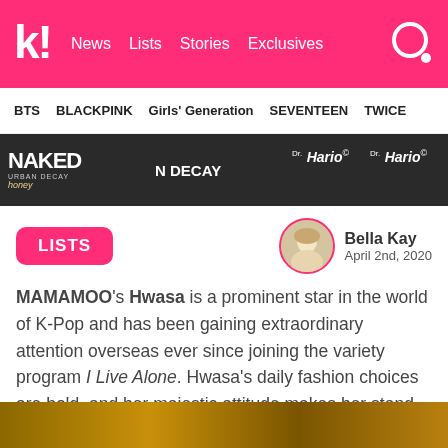k! News  Lists  Stories  Exclusives
BTS  BLACKPINK  Girls' Generation  SEVENTEEN  TWICE
[Figure (photo): Banner image showing event backdrop with NAKED Urban Decay Honey, N DECAY, Dr. Hario's brand logos, and partial view of a person's legs]
LISTS
[Figure (photo): Circular avatar photo of author Bella Kay with pink border]
Bella Kay
April 2nd, 2020
MAMAMOO's Hwasa is a prominent star in the world of K-Pop and has been gaining extraordinary attention overseas ever since joining the variety program I Live Alone. Hwasa's daily fashion choices are bold, and her majestic attitude makes her stand out even more.
[Figure (photo): Bottom portion of a photo, cropped, showing warm golden tones]